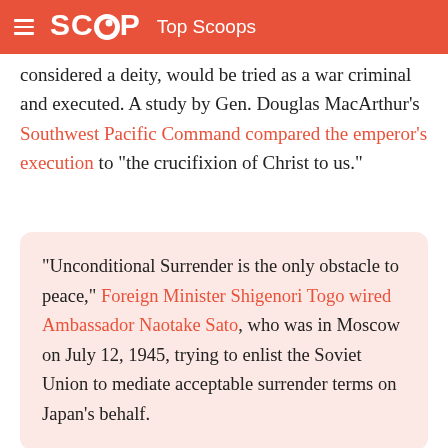SCOOP Top Scoops
considered a deity, would be tried as a war criminal and executed. A study by Gen. Douglas MacArthur's Southwest Pacific Command compared the emperor's execution to “the crucifixion of Christ to us.”
“Unconditional Surrender is the only obstacle to peace,” Foreign Minister Shigenori Togo wired Ambassador Naotake Sato, who was in Moscow on July 12, 1945, trying to enlist the Soviet Union to mediate acceptable surrender terms on Japan’s behalf.